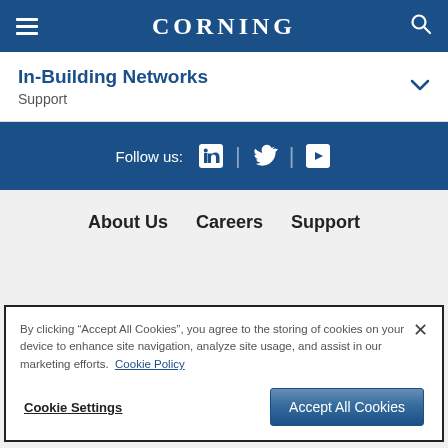CORNING
In-Building Networks
Support
Follow us: LinkedIn | Twitter | YouTube
About Us   Careers   Support
By clicking "Accept All Cookies", you agree to the storing of cookies on your device to enhance site navigation, analyze site usage, and assist in our marketing efforts. Cookie Policy
Cookie Settings   Accept All Cookies